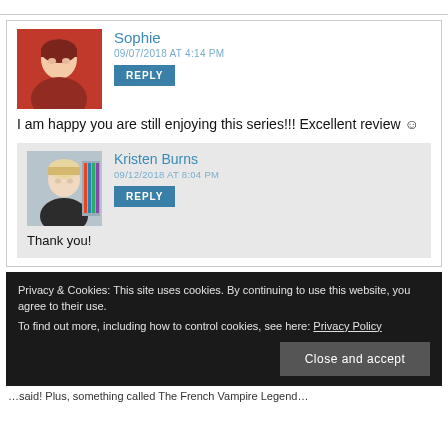Sophie
09/07/2018 AT 4:14 PM
REPLY
I am happy you are still enjoying this series!!! Excellent review ☺
Kristen Burns
09/12/2018 AT 8:04 PM
REPLY
Thank you!
Privacy & Cookies: This site uses cookies. By continuing to use this website, you agree to their use.
To find out more, including how to control cookies, see here: Privacy Policy
Close and accept